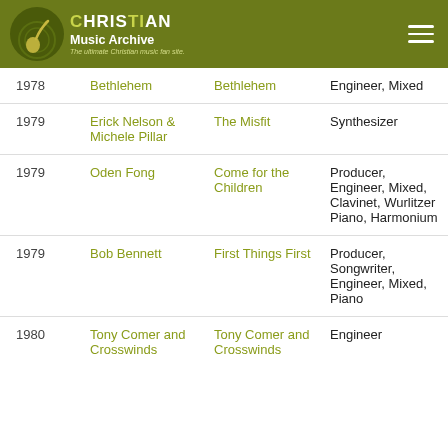Christian Music Archive — The ultimate Christian music fan site.
| Year | Artist | Album | Role |
| --- | --- | --- | --- |
| 1978 | Bethlehem | Bethlehem | Engineer, Mixed |
| 1979 | Erick Nelson & Michele Pillar | The Misfit | Synthesizer |
| 1979 | Oden Fong | Come for the Children | Producer, Engineer, Mixed, Clavinet, Wurlitzer Piano, Harmonium |
| 1979 | Bob Bennett | First Things First | Producer, Songwriter, Engineer, Mixed, Piano |
| 1980 | Tony Comer and Crosswinds | Tony Comer and Crosswinds | Engineer |